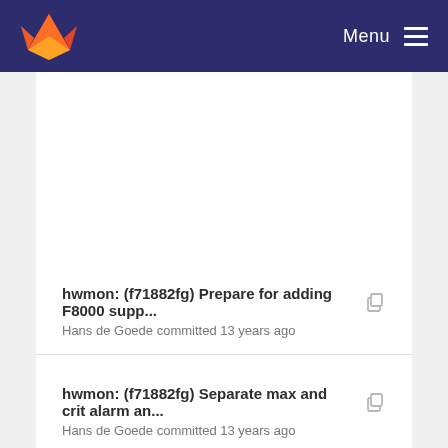Menu
hwmon: (f71882fg) Prepare for adding F8000 supp...
Hans de Goede committed 13 years ago
hwmon: (f71882fg) Separate max and crit alarm an...
Hans de Goede committed 13 years ago